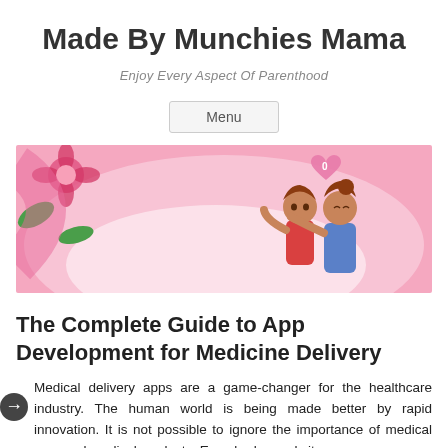Made By Munchies Mama
Enjoy Every Aspect Of Parenthood
Menu
[Figure (illustration): Pink background banner illustration showing two figures (appearing to be a mother and child) hugging, with a heart above them and a flower on the left side.]
The Complete Guide to App Development for Medicine Delivery
Medical delivery apps are a game-changer for the healthcare industry. The human world is being made better by rapid innovation. It is not possible to ignore the importance of medical care and medical products. Everybody needs it